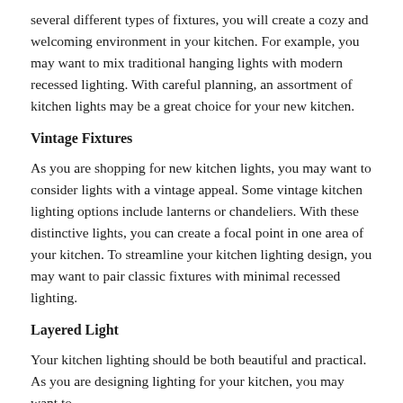several different types of fixtures, you will create a cozy and welcoming environment in your kitchen. For example, you may want to mix traditional hanging lights with modern recessed lighting. With careful planning, an assortment of kitchen lights may be a great choice for your new kitchen.
Vintage Fixtures
As you are shopping for new kitchen lights, you may want to consider lights with a vintage appeal. Some vintage kitchen lighting options include lanterns or chandeliers. With these distinctive lights, you can create a focal point in one area of your kitchen. To streamline your kitchen lighting design, you may want to pair classic fixtures with minimal recessed lighting.
Layered Light
Your kitchen lighting should be both beautiful and practical. As you are designing lighting for your kitchen, you may want to